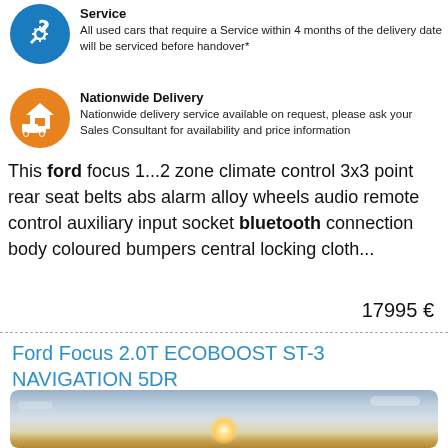[Figure (infographic): Blue circle icon with wrench/gear symbol for Service]
Service
All used cars that require a Service within 4 months of the delivery date will be serviced before handover*
[Figure (infographic): Orange circle icon with house/delivery symbol for Nationwide Delivery]
Nationwide Delivery
Nationwide delivery service available on request, please ask your Sales Consultant for availability and price information
This ford focus 1...2 zone climate control 3x3 point rear seat belts abs alarm alloy wheels audio remote control auxiliary input socket bluetooth connection body coloured bumpers central locking cloth...
17995 €
Ford Focus 2.0T ECOBOOST ST-3 NAVIGATION 5DR
[Figure (photo): Landscape photo of a sky with sun near horizon and clouds]